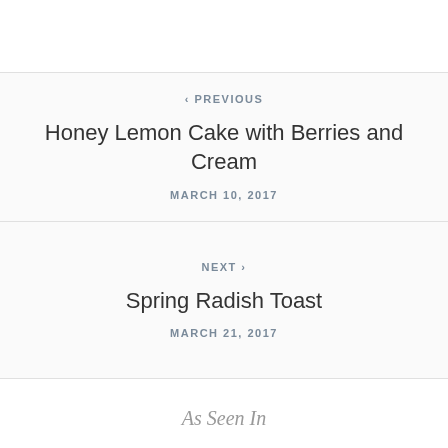‹ PREVIOUS
Honey Lemon Cake with Berries and Cream
MARCH 10, 2017
NEXT ›
Spring Radish Toast
MARCH 21, 2017
As Seen In